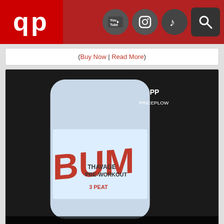PricePlow header with logo and social icons (YouTube, Instagram, TikTok, Search)
(Buy Now | Read More)
[Figure (photo): RAW Nutrition Thavage Pre-Workout container labeled '3 PEAT' flavor, with overlay text: '3 PEAT! POWERFUL FLAVOR FOR THE THAVAGE PRE! PRICEPLOW ARTICLE']
3 Peat! Raw Nutrition's New Thavage Pre-Workout Flavor
(Buy Now | Read More)
Latest Blog Posts
OREO® Birthday Cake GHOST Whey Celebrates 6 Years of Ghost and 110 Years of OREO®!